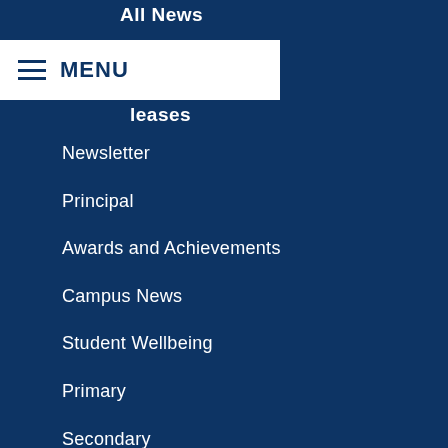All News
MENU
leases
Newsletter
Principal
Awards and Achievements
Campus News
Student Wellbeing
Primary
Secondary
Performing Arts
High Performance Program
Sport
BDC Barracudas